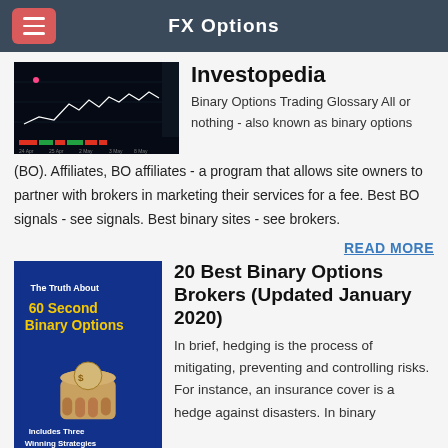FX Options
[Figure (screenshot): Thumbnail of a financial chart showing candlestick/line data with indicators]
Investopedia
Binary Options Trading Glossary All or nothing - also known as binary options (BO). Affiliates, BO affiliates - a program that allows site owners to partner with brokers in marketing their services for a fee. Best BO signals - see signals. Best binary sites - see brokers.
READ MORE
[Figure (illustration): Book cover: The Truth About 60 Second Binary Options - Includes Three Winning Strategies, TradingOpus]
20 Best Binary Options Brokers (Updated January 2020)
In brief, hedging is the process of mitigating, preventing and controlling risks. For instance, an insurance cover is a hedge against disasters. In binary options trading, binary options hedging is best illustrated by going